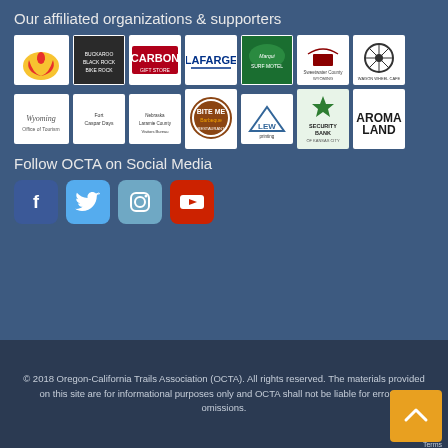Our affiliated organizations & supporters
[Figure (logo): Row of sponsor/affiliate logos: Shell, Buckaroo Black Rock, Carbon Gift Store, Lafarge, Marquiseats Surf Motel, Sweetwater County Wyoming, Wagon Wheel Cafe]
[Figure (logo): Row of sponsor/affiliate logos: Wyoming, Fort Caspar Days, Nebraska Laramie County, Bite Me Barbeque, LEW Printing, Security Bank of Kansas City, Aromaland]
Follow OCTA on Social Media
[Figure (infographic): Social media icon buttons: Facebook (blue), Twitter (light blue), Instagram (grey-blue), YouTube (red)]
© 2018 Oregon-California Trails Association (OCTA). All rights reserved. The materials provided on this site are for informational purposes only and OCTA shall not be liable for errors or omissions.